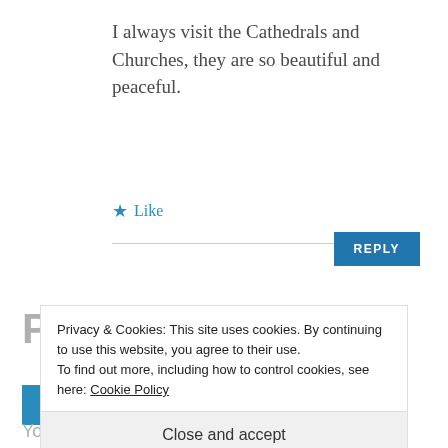I always visit the Cathedrals and Churches, they are so beautiful and peaceful.
★ Like
REPLY
Please share your
Privacy & Cookies: This site uses cookies. By continuing to use this website, you agree to their use.
To find out more, including how to control cookies, see here: Cookie Policy
Close and accept
Your email address will not be published.